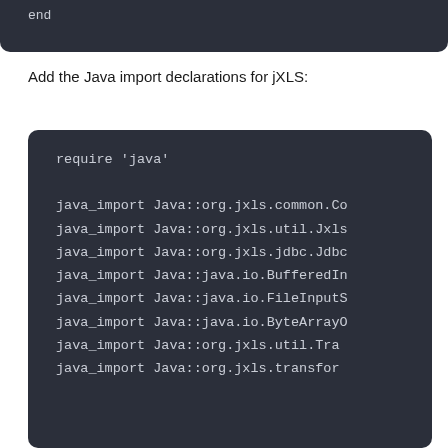[Figure (screenshot): Dark code block (top, partial) showing end of a code snippet]
Add the Java import declarations for jXLS:
[Figure (screenshot): Dark code block showing Ruby code: require 'java' followed by multiple java_import statements for Java::org.jxls.common.Co, Java::org.jxls.util.Jxls, Java::org.jxls.jdbc.Jdbc, Java::java.io.BufferedIn, Java::java.io.FileInputS, Java::java.io.ByteArrayO, Java::org.jxls.util.Tra, Java::org.jxls.transform]